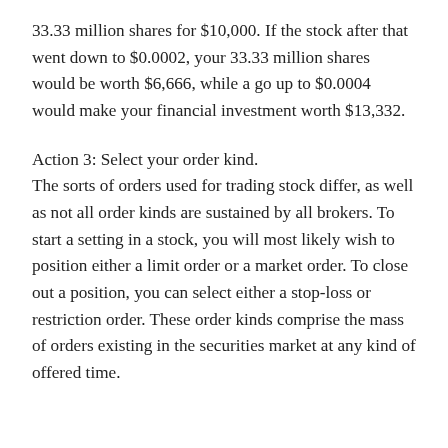33.33 million shares for $10,000. If the stock after that went down to $0.0002, your 33.33 million shares would be worth $6,666, while a go up to $0.0004 would make your financial investment worth $13,332.
Action 3: Select your order kind.
The sorts of orders used for trading stock differ, as well as not all order kinds are sustained by all brokers. To start a setting in a stock, you will most likely wish to position either a limit order or a market order. To close out a position, you can select either a stop-loss or restriction order. These order kinds comprise the mass of orders existing in the securities market at any kind of offered time.